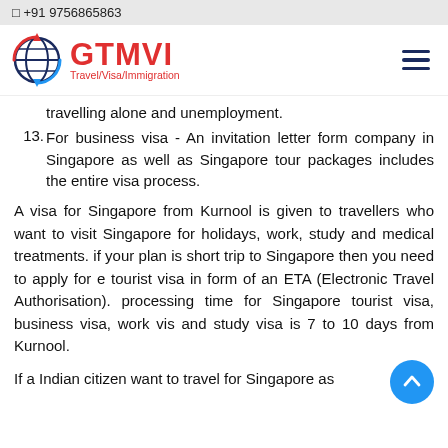□ +91 9756865863
[Figure (logo): GTMVI Travel/Visa/Immigration logo with globe icon and hamburger menu icon]
travelling alone and unemployment.
13. For business visa - An invitation letter form company in Singapore as well as Singapore tour packages includes the entire visa process.
A visa for Singapore from Kurnool is given to travellers who want to visit Singapore for holidays, work, study and medical treatments. if your plan is short trip to Singapore then you need to apply for e tourist visa in form of an ETA (Electronic Travel Authorisation). processing time for Singapore tourist visa, business visa, work vis and study visa is 7 to 10 days from Kurnool.
If a Indian citizen want to travel for Singapore as